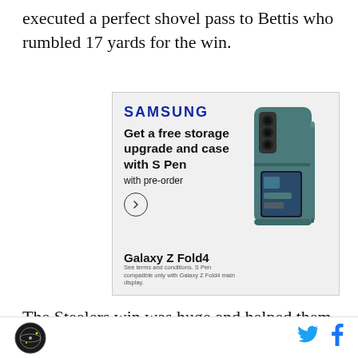executed a perfect shovel pass to Bettis who rumbled 17 yards for the win.
[Figure (other): Samsung advertisement for Galaxy Z Fold4. Text: SAMSUNG. Get a free storage upgrade and case with S Pen with pre-order. Arrow button. Galaxy Z Fold4. See terms and conditions. S Pen compatible only with Galaxy Z Fold4 main display. Image of Galaxy Z Fold4 phone with S Pen.]
The Steelers win was huge and helped them win the division against a team that stayed close all season